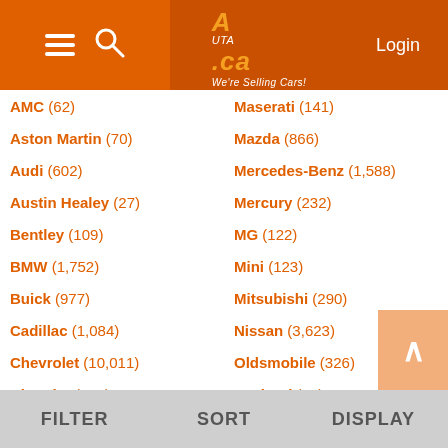AUTA.ca - We're Selling Cars! Login
AMC (62)
Aston Martin (70)
Audi (602)
Austin Healey (27)
Bentley (109)
BMW (1,752)
Buick (977)
Cadillac (1,084)
Chevrolet (10,011)
Chrysler (650)
Cushman (42)
Datsun (42)
Desoto (14)
Dodge (1,980)
Maserati (141)
Mazda (866)
Mercedes-Benz (1,588)
Mercury (232)
MG (122)
Mini (123)
Mitsubishi (290)
Nissan (3,623)
Oldsmobile (326)
Packard (84)
Plymouth (395)
Pontiac (857)
Porsche (367)
RAM (2,267)
FILTER   SORT   DISPLAY